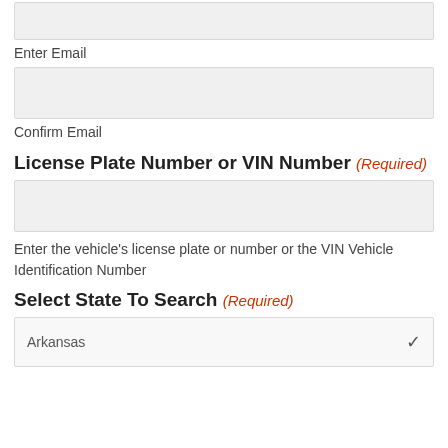[Figure (screenshot): Input text field for Enter Email (top, partially visible)]
Enter Email
[Figure (screenshot): Input text field for Confirm Email]
Confirm Email
License Plate Number or VIN Number (Required)
[Figure (screenshot): Input text field for License Plate Number or VIN Number]
Enter the vehicle's license plate or number or the VIN Vehicle Identification Number
Select State To Search (Required)
[Figure (screenshot): Dropdown select field showing 'Arkansas']